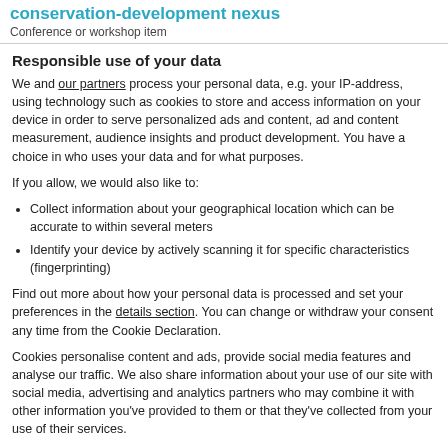conservation-development nexus
Conference or workshop item
Responsible use of your data
We and our partners process your personal data, e.g. your IP-address, using technology such as cookies to store and access information on your device in order to serve personalized ads and content, ad and content measurement, audience insights and product development. You have a choice in who uses your data and for what purposes.
If you allow, we would also like to:
Collect information about your geographical location which can be accurate to within several meters
Identify your device by actively scanning it for specific characteristics (fingerprinting)
Find out more about how your personal data is processed and set your preferences in the details section. You can change or withdraw your consent any time from the Cookie Declaration.
Cookies personalise content and ads, provide social media features and analyse our traffic. We also share information about your use of our site with social media, advertising and analytics partners who may combine it with other information you've provided to them or that they've collected from your use of their services.
Allow selection | Allow all cookies
Necessary | Preferences | Statistics | Marketing | Show details